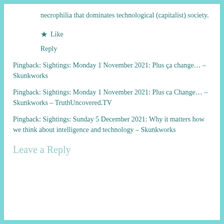necrophilia that dominates technological (capitalist) society.
★ Like
Reply
Pingback: Sightings: Monday 1 November 2021: Plus ça change… – Skunkworks
Pingback: Sightings: Monday 1 November 2021: Plus ca Change… – Skunkworks – TruthUncovered.TV
Pingback: Sightings: Sunday 5 December 2021: Why it matters how we think about intelligence and technology – Skunkworks
Leave a Reply